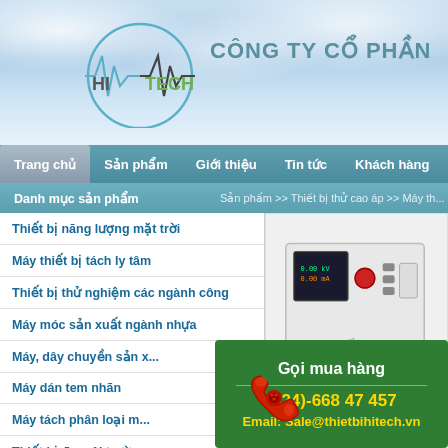[Figure (logo): Hi Tech company logo with circle and waveform graphic]
CÔNG TY CỔ PHẦN
Trang chủ | Sản phẩm | Giới thiệu | Tin tức | Khách hàng
Danh mục sản phẩm
Sản phẩm >> Thiết bị thử cao áp >> Máy th...
Thiết bị năng lượng mặt trời
Máy thiết bị tách ly tâm
Thiết bị thử nghiệm các ngành công
Máy móc sản xuất ngành nhựa
Máy, dây chuyền sản x...
Máy dán tem nhãn
Máy tách phân loại m...
Thiết bị đo môi trường...
Máy thiết bị khai thác
[Figure (photo): High voltage test device/instrument photo]
Gọi mua hàng
(024)-668 47 457
Email: Sale@thietbihitech.vn